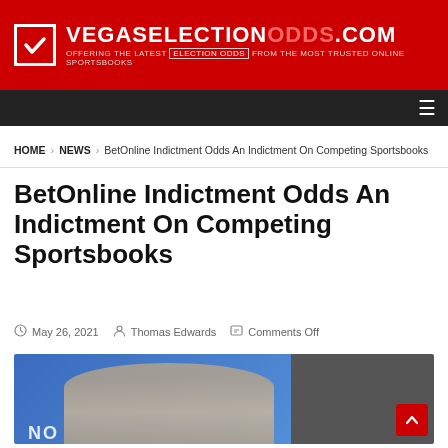VEGASELECTIONODDS.COM — OFFERING THE LATEST ELECTION ODDS FROM THE MOST TRUSTED ONLINE SPORTSBOOKS
HOME › NEWS › BetOnline Indictment Odds An Indictment On Competing Sportsbooks
BetOnline Indictment Odds An Indictment On Competing Sportsbooks
May 26, 2021  Thomas Edwards  Comments Off
[Figure (photo): Photo of a person at a podium with blue background showing partial text 'NO', alongside a dark panel with a red back-to-top button]